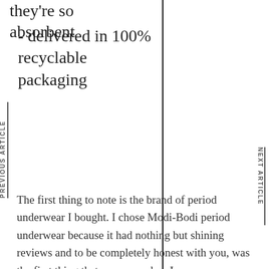- delivered in 100% recyclable packaging
they're so absorbent
PREVIOUS ARTICLE
NEXT ARTICLE
The first thing to note is the brand of period underwear I bought. I chose Modi-Bodi period underwear because it had nothing but shining reviews and to be completely honest with you, was the first thing that came up when I